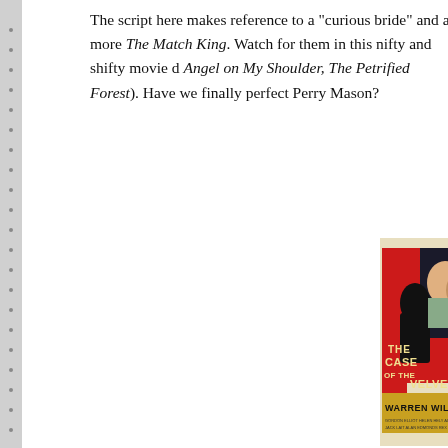The script here makes reference to a "curious bride" and a more The Match King. Watch for them in this nifty and shifty movie d Angel on My Shoulder, The Petrified Forest). Have we finally perfect Perry Mason?
[Figure (photo): Movie poster for 'The Case of the Velvet Cl...' featuring Warren William. Red and black design with a silhouette and two actors (man and woman). Title text reads 'THE CASE OF THE VELVET CL...' and 'WARREN WILLIAM' at the bottom.]